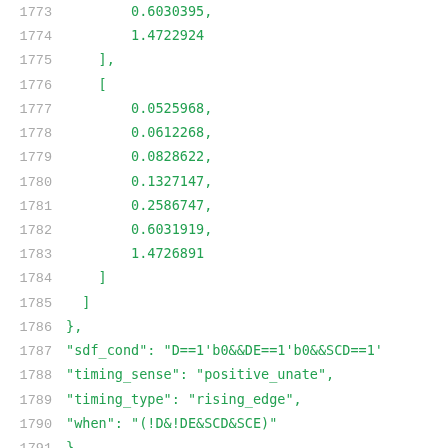Code listing lines 1773-1794 showing JSON/SDF data structure with numerical arrays and timing properties